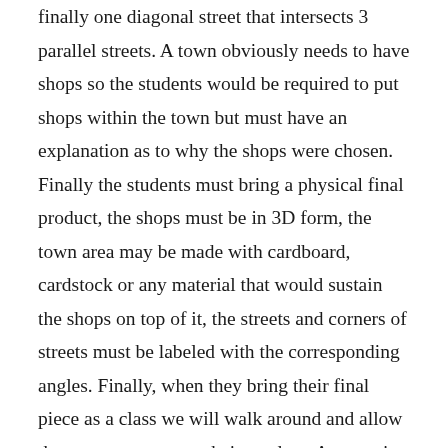finally one diagonal street that intersects 3 parallel streets. A town obviously needs to have shops so the students would be required to put shops within the town but must have an explanation as to why the shops were chosen. Finally the students must bring a physical final product, the shops must be in 3D form, the town area may be made with cardboard, cardstock or any material that would sustain the shops on top of it, the streets and corners of streets must be labeled with the corresponding angles. Finally, when they bring their final piece as a class we will walk around and allow the groups to present their product. As an exit ticket for presentation day the students must turn in the definitions of parallel and perpendicular in their owns words and how it was shown in their project product.